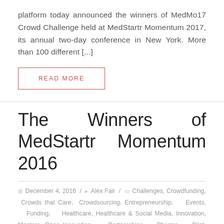platform today announced the winners of MedMo17 Crowd Challenge held at MedStartr Momentum 2017, its annual two-day conference in New York. More than 100 different [...]
READ MORE
The Winners of MedStartr Momentum 2016
December 4, 2016 / Alex Fair / Challenges, Crowdfunding, Crowds that Care, Crowdsourcing, Entrepreneurship, Events, Funding, Healthcare, Healthcare & Social Media, Innovation, Mentors, Open Innovation, Partnerships, Pharma, Pilot, Projects,